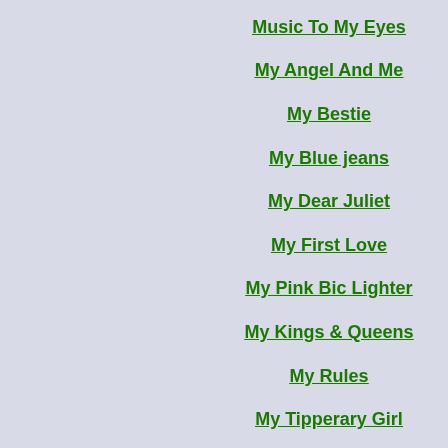Music To My Eyes
My Angel And Me
My Bestie
My Blue jeans
My Dear Juliet
My First Love
My Pink Bic Lighter
My Kings & Queens
My Rules
My Tipperary Girl